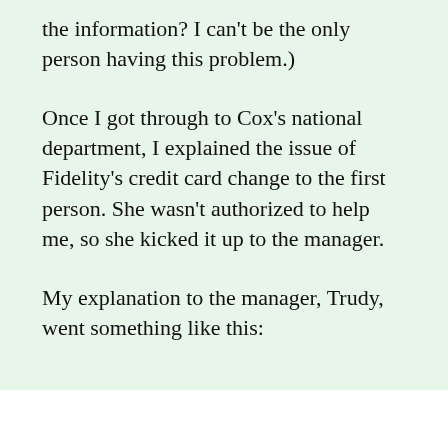the information? I can't be the only person having this problem.)
Once I got through to Cox's national department, I explained the issue of Fidelity's credit card change to the first person. She wasn't authorized to help me, so she kicked it up to the manager.
My explanation to the manager, Trudy, went something like this: